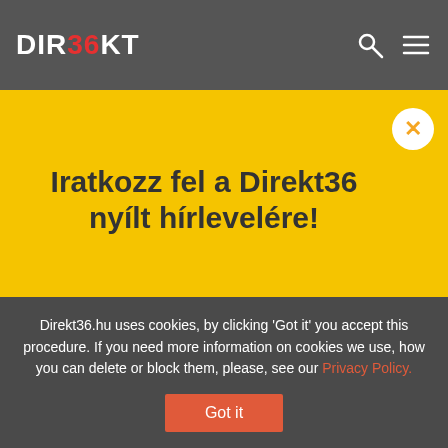DIREKT36
Iratkozz fel a Direkt36 nyílt hírlevelére!
The world of the director collapsed
During the period when the episode in Mór played out,  Fejér county became the second most infected county.  By mid-April, the nationwide death toll exceeded one hundred, with the
Direkt36.hu uses cookies, by clicking 'Got it' you accept this procedure. If you need more information on cookies we use, how you can delete or block them, please, see our Privacy Policy.